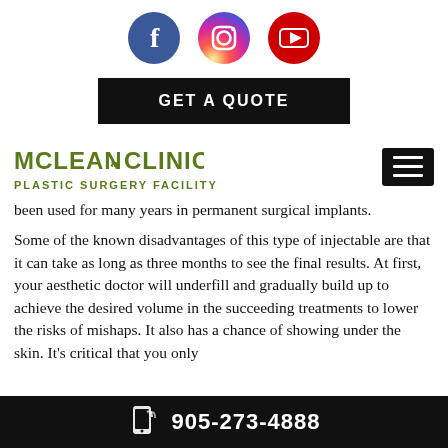[Figure (logo): Social media icons: Facebook (blue circle with f), Instagram (gradient circle with camera icon), YouTube (red circle with play button)]
[Figure (other): GET A QUOTE button - black rectangle with white uppercase text]
[Figure (logo): McLean Clinic - Plastic Surgery Facility logo with olive/green text and leaf motif, plus hamburger menu button]
been used for many years in permanent surgical implants.
Some of the known disadvantages of this type of injectable are that it can take as long as three months to see the final results. At first, your aesthetic doctor will underfill and gradually build up to achieve the desired volume in the succeeding treatments to lower the risks of mishaps. It also has a chance of showing under the skin. It's critical that you only
905-273-4888